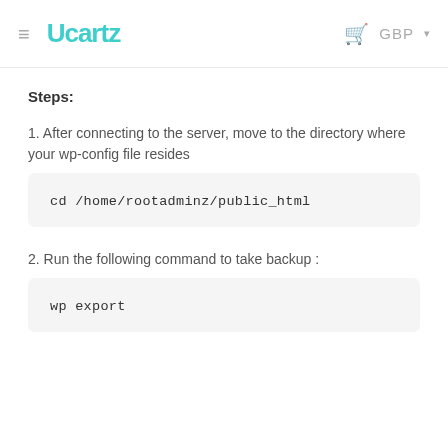≡  Ucartz   🛒  GBP ▾
Steps:
1. After connecting to the server, move to the directory where your wp-config file resides
cd /home/rootadminz/public_html
2. Run the following command to take backup :
wp export